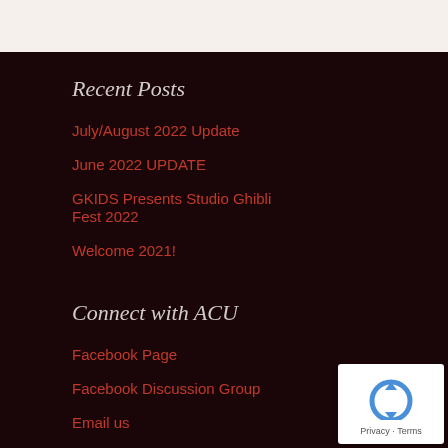Recent Posts
July/August 2022 Update
June 2022 UPDATE
GKIDS Presents Studio Ghibli Fest 2022
Welcome 2021!
Connect with ACU
Facebook Page
Facebook Discussion Group
Email us
[Figure (logo): reCAPTCHA badge with blue circular arrow icon and Privacy - Terms text]